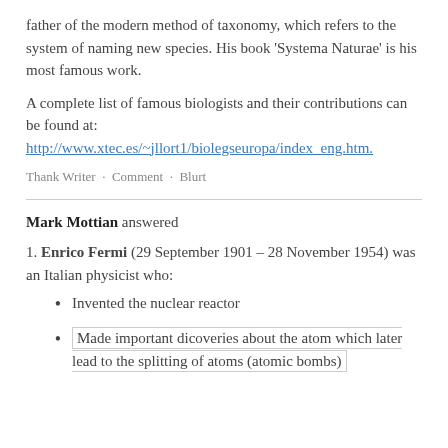father of the modern method of taxonomy, which refers to the system of naming new species. His book 'Systema Naturae' is his most famous work.
A complete list of famous biologists and their contributions can be found at: http://www.xtec.es/~jllort1/biolegseuropa/index_eng.htm.
Thank Writer · Comment · Blurt
Mark Mottian answered
1. Enrico Fermi (29 September 1901 – 28 November 1954) was an Italian physicist who:
Invented the nuclear reactor
Made important dicoveries about the atom which later lead to the splitting of atoms (atomic bombs)